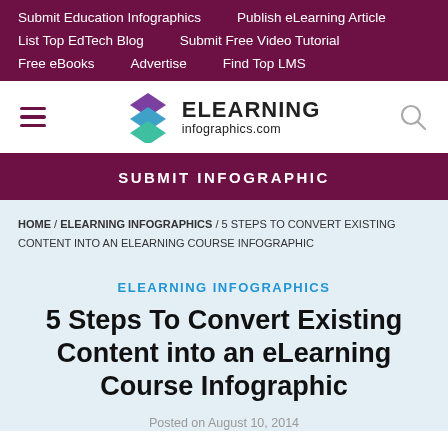Submit Education Infographics | Publish eLearning Article | List Top EdTech Blog | Submit Free Video Tutorial | Free eBooks | Advertise | Find Top LMS
[Figure (logo): ELearning Infographics logo with layered diamond icon and site name 'ELEARNING infographics.com']
SUBMIT INFOGRAPHIC
HOME / ELEARNING INFOGRAPHICS / 5 STEPS TO CONVERT EXISTING CONTENT INTO AN ELEARNING COURSE INFOGRAPHIC
ELEARNING INFOGRAPHICS
5 Steps To Convert Existing Content into an eLearning Course Infographic
Posted on August 10, 2014